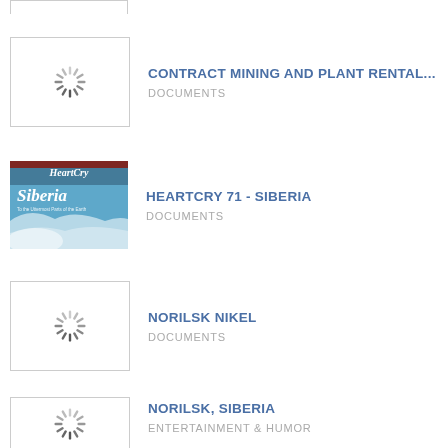CONTRACT MINING AND PLANT RENTAL... | DOCUMENTS
HEARTCRY 71 - SIBERIA | DOCUMENTS
NORILSK NIKEL | DOCUMENTS
NORILSK, SIBERIA | ENTERTAINMENT & HUMOR
JONI HAUTOJÄRVI, NORILSK NICKEL | PRESENTATIONS & PUBLIC SPEAKING